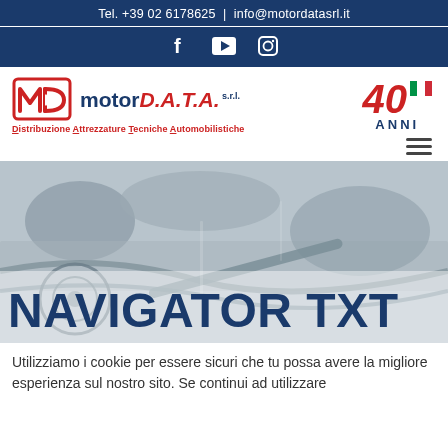Tel. +39 02 6178625 | info@motordatasrl.it
[Figure (logo): Social media icons: Facebook, YouTube, Instagram on navy background]
[Figure (logo): Motor DATA s.r.l. logo with MD icon and tagline: Distribuzione Attrezzature Tecniche Automobilistiche, with 40 anni badge]
NAVIGATOR TXT
Utilizziamo i cookie per essere sicuri che tu possa avere la migliore esperienza sul nostro sito. Se continui ad utilizzare